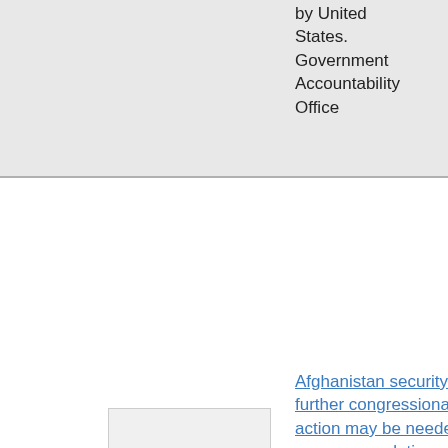by United States. Government Accountability Office
Afghanistan security : further congressional action may be needed to ensure completion of a detailed plan to develop and sustain capable Afghan National Security Forces : report to congressional committees
[Figure (other): Thumbnail image placeholder for document]
eng  4  050  DS371.
by United States.